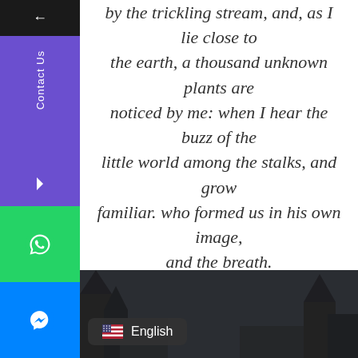by the trickling stream, and, as I lie close to the earth, a thousand unknown plants are noticed by me: when I hear the buzz of the little world among the stalks, and grow familiar. who formed us in his own image, and the breath.
ROBERT KIM
Customer
[Figure (photo): Circular portrait photo of a young man in a grey hoodie]
[Figure (photo): Dark background section with tree silhouettes]
English